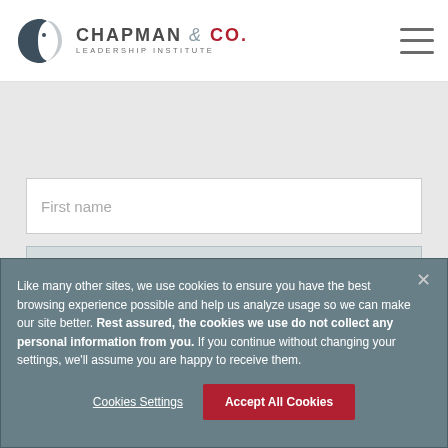[Figure (logo): Chapman & Co. Leadership Institute logo with circular icon on the left and text on the right, hamburger menu icon top right]
[Figure (screenshot): Gray background content area below header with a 'First name' form input field and a partial second form field]
Like many other sites, we use cookies to ensure you have the best browsing experience possible and help us analyze usage so we can make our site better. Rest assured, the cookies we use do not collect any personal information from you. If you continue without changing your settings, we'll assume you are happy to receive them.
Cookies Settings
Accept All Cookies